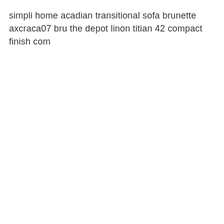simpli home acadian transitional sofa brunette axcraca07 bru the depot linon titian 42 compact finish com